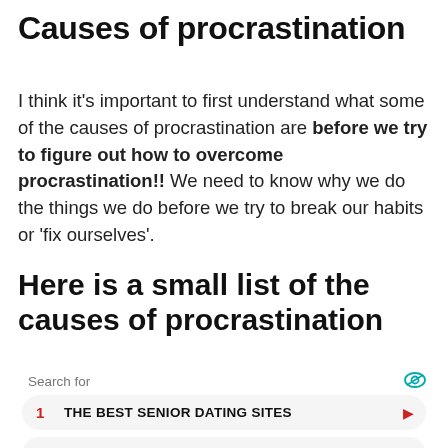Causes of procrastination
I think it's important to first understand what some of the causes of procrastination are before we try to figure out how to overcome procrastination!! We need to know why we do the things we do before we try to break our habits or ‘fix ourselves’.
Here is a small list of the causes of procrastination
[Figure (other): Yahoo Search sponsored ad unit with search bar and two results: 1. THE BEST SENIOR DATING SITES, 2. ONLINE DATING SITE SENIORS]